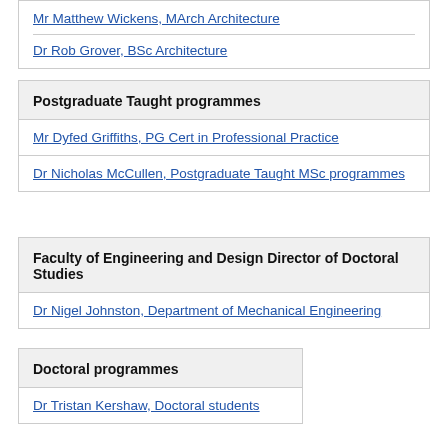Mr Matthew Wickens, MArch Architecture
Dr Rob Grover, BSc Architecture
Postgraduate Taught programmes
Mr Dyfed Griffiths, PG Cert in Professional Practice
Dr Nicholas McCullen, Postgraduate Taught MSc programmes
Faculty of Engineering and Design Director of Doctoral Studies
Dr Nigel Johnston, Department of Mechanical Engineering
Doctoral programmes
Dr Tristan Kershaw, Doctoral students